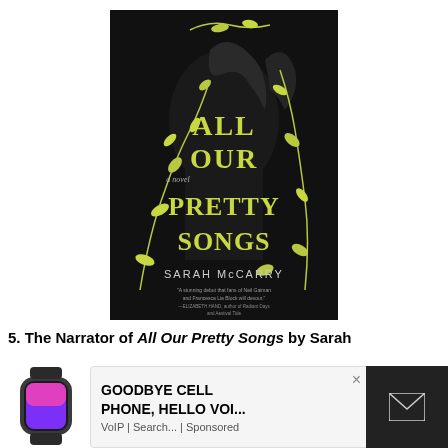[Figure (illustration): Book cover of 'All Our Pretty Songs' by Sarah McCarry. Dark background with a figure and yellow-green decorative vines and leaves swirling around large bold text. Text on cover reads: ALL OUR PRETTY SONGS, a novel, SARAH McCARRY, with a quote: 'A stunning debut that fans of Neil Gaiman and Francesca Lia Block will devour.' —ELIZABETH HAND, author of Radiant Days and Aestival Tide]
5. The Narrator of All Our Pretty Songs by Sarah
[Figure (screenshot): Advertisement overlay showing a smartwatch image on the left, text 'GOODBYE CELL PHONE, HELLO VOI...' with 'VoIP | Search... | Sponsored' below, a close X button, and a dark mail icon box on the right.]